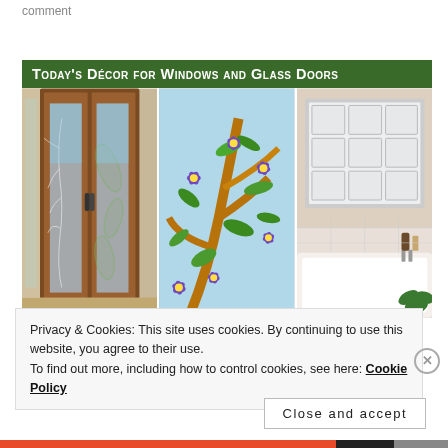comment
[Figure (photo): Banner titled 'Today's Décor for Windows and Glass Doors' with three photos: decorative glass double doors with frosted leaf pattern, stained glass window film with purple flowers and brown branches on light blue background, and a frosted grid window above a bathroom tub.]
Privacy & Cookies: This site uses cookies. By continuing to use this website, you agree to their use.
To find out more, including how to control cookies, see here: Cookie Policy
Close and accept